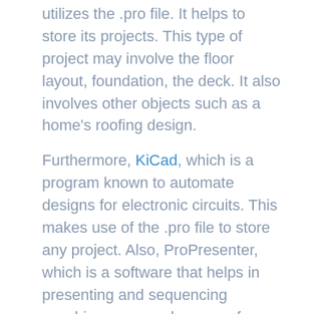utilizes the .pro file. It helps to store its projects. This type of project may involve the floor layout, foundation, the deck. It also involves other objects such as a home's roofing design.
Furthermore, KiCad, which is a program known to automate designs for electronic circuits. This makes use of the .pro file to store any project. Also, ProPresenter, which is a software that helps in presenting and sequencing worship songs, makes use of .pro files in storing different video and audio files, which are mostly worship songs. Also, the .pro file is useful in storing projects that are created with the use of Qt. Qt is a package that develops applications.